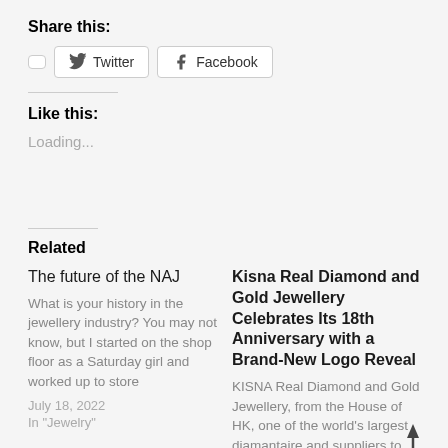Share this:
Twitter  Facebook
Like this:
Loading...
Related
The future of the NAJ
What is your history in the jewellery industry? You may not know, but I started on the shop floor as a Saturday girl and worked up to store
July 18, 2022
In "Jewelry"
Kisna Real Diamond and Gold Jewellery Celebrates Its 18th Anniversary with a Brand-New Logo Reveal
KISNA Real Diamond and Gold Jewellery, from the House of HK, one of the world's largest diamantaire and suppliers to marquee
July 19, 2022